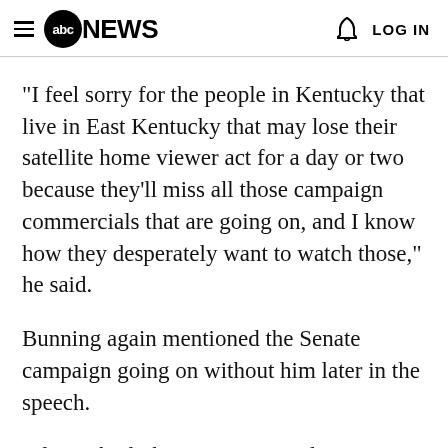abc NEWS   LOG IN
"I feel sorry for the people in Kentucky that live in East Kentucky that may lose their satellite home viewer act for a day or two because they'll miss all those campaign commercials that are going on, and I know how they desperately want to watch those," he said.
Bunning again mentioned the Senate campaign going on without him later in the speech.
"If you think the tea party people are crazy, get